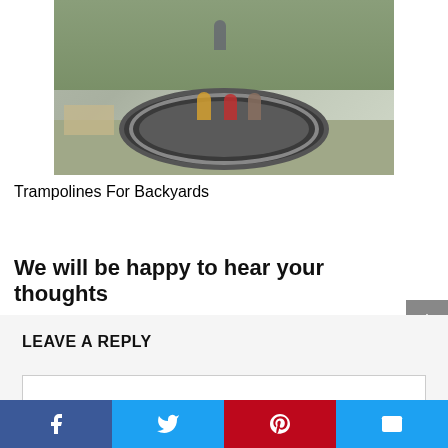[Figure (photo): Photo of children around an in-ground trampoline in a backyard garden setting]
Trampolines For Backyards
We will be happy to hear your thoughts
LEAVE A REPLY
[Figure (other): Social media share bar with Facebook, Twitter, Pinterest, and Email buttons]